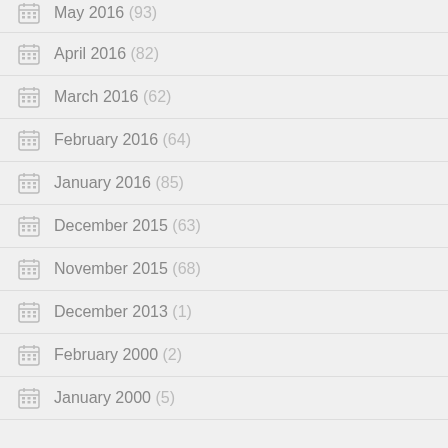May 2016 (93)
April 2016 (82)
March 2016 (62)
February 2016 (64)
January 2016 (85)
December 2015 (63)
November 2015 (68)
December 2013 (1)
February 2000 (2)
January 2000 (5)